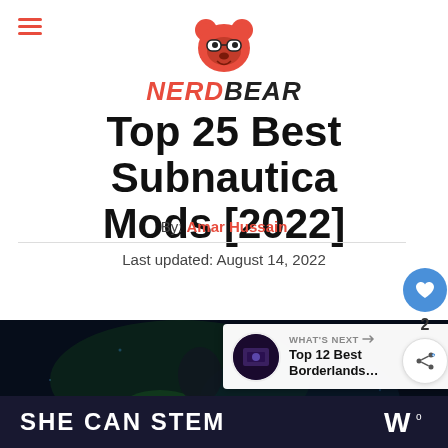[Figure (logo): NerdBear website logo — orange bear icon with glasses above italic bold red and black text NERDBEAR]
Top 25 Best Subnautica Mods [2022]
By: Amar Hussain
Last updated: August 14, 2022
[Figure (photo): Hero image of Subnautica game scene, dark underwater environment. Overlaid with a 'WHAT'S NEXT' card showing a thumbnail and text 'Top 12 Best Borderlands...' and a bottom banner with 'SHE CAN STEM' text and a logo.]